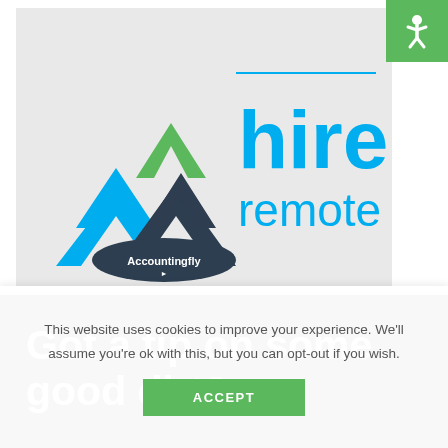[Figure (illustration): Accountingfly 'hire remote' advertisement banner with chevron logos in blue, green, and dark navy, plus text 'hire remote' in cyan/blue colors. Green accessibility icon in top-right corner.]
[Figure (illustration): Dark gray banner with white bold text reading 'Got a tip on some good dirt?' and partially visible text 'We won't tell your firm']
This website uses cookies to improve your experience. We'll assume you're ok with this, but you can opt-out if you wish.
ACCEPT